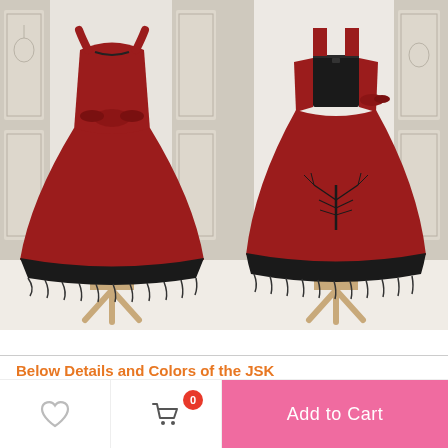[Figure (photo): Back view of a red and black lolita JSK dress on a wooden mannequin stand, with black lace trim at the hem and a bow at the back, set against a white room with decorative cabinet.]
[Figure (photo): Front view of a red and black lolita JSK dress on a wooden mannequin stand, with black lace trim at the hem and tree embroidery on the skirt, set against a white room with decorative cabinet.]
Below Details and Colors of the JSK